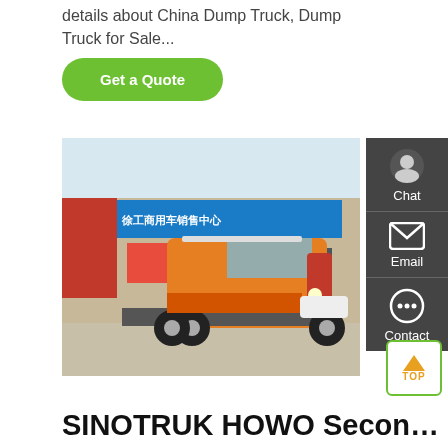details about China Dump Truck, Dump Truck for Sale...
Get a Quote
[Figure (photo): Orange SINOTRUK HOWO tractor truck parked in front of a commercial vehicle sales center building with Chinese signage and XCMG branding. The truck is a 6-wheel heavy-duty tractor head in bright orange color.]
Chat
Email
Contact
SINOTRUK HOWO Second...